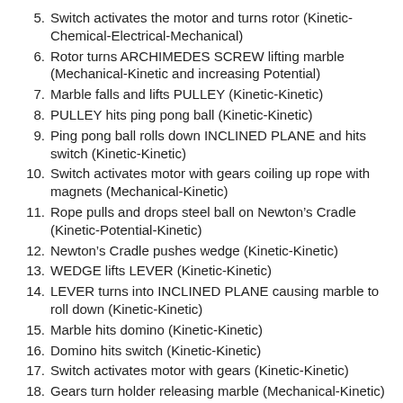5. Switch activates the motor and turns rotor (Kinetic-Chemical-Electrical-Mechanical)
6. Rotor turns ARCHIMEDES SCREW lifting marble (Mechanical-Kinetic and increasing Potential)
7. Marble falls and lifts PULLEY (Kinetic-Kinetic)
8. PULLEY hits ping pong ball (Kinetic-Kinetic)
9. Ping pong ball rolls down INCLINED PLANE and hits switch (Kinetic-Kinetic)
10. Switch activates motor with gears coiling up rope with magnets (Mechanical-Kinetic)
11. Rope pulls and drops steel ball on Newton’s Cradle (Kinetic-Potential-Kinetic)
12. Newton’s Cradle pushes wedge (Kinetic-Kinetic)
13. WEDGE lifts LEVER (Kinetic-Kinetic)
14. LEVER turns into INCLINED PLANE causing marble to roll down (Kinetic-Kinetic)
15. Marble hits domino (Kinetic-Kinetic)
16. Domino hits switch (Kinetic-Kinetic)
17. Switch activates motor with gears (Kinetic-Kinetic)
18. Gears turn holder releasing marble (Mechanical-Kinetic)
19. Marble rolls down INCLINED PLANE and hits LEVER (Kinetic-Mechanical)
20. LEVER releases catapult launching marble(Mechanical-